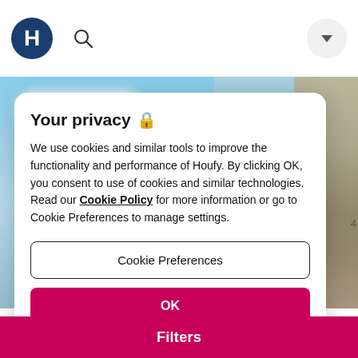[Figure (screenshot): Houfy website header with logo (H in dark blue circle), search icon, and dropdown button on white navigation bar.]
[Figure (photo): Background photo of architecture with blue sky and glass/metal structure with wooden tones on the right.]
Your privacy 🔒
We use cookies and similar tools to improve the functionality and performance of Houfy. By clicking OK, you consent to use of cookies and similar technologies. Read our Cookie Policy for more information or go to Cookie Preferences to manage settings.
Cookie Preferences
OK
Filters